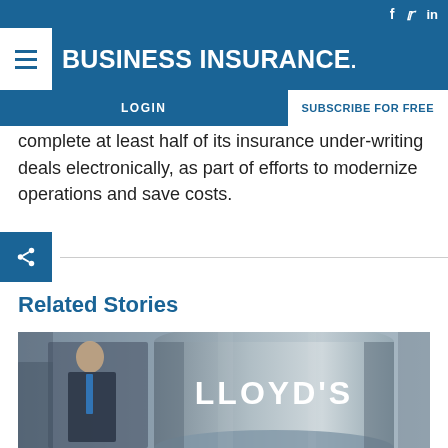BUSINESS INSURANCE
LOGIN  SUBSCRIBE FOR FREE
complete at least half of its insurance under-writing deals electronically, as part of efforts to modernize operations and save costs.
Related Stories
[Figure (photo): Lloyd's of London building exterior with silver cylindrical pillar displaying LLOYD'S logo and a businessman in background]